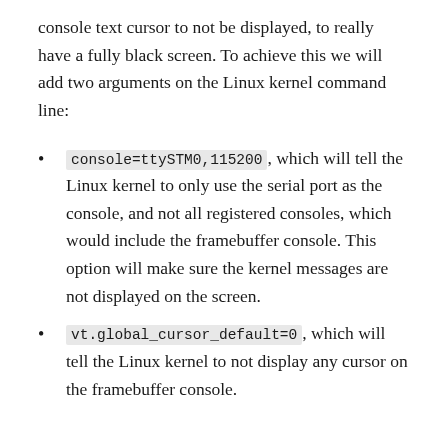console text cursor to not be displayed, to really have a fully black screen. To achieve this we will add two arguments on the Linux kernel command line:
console=ttySTM0,115200, which will tell the Linux kernel to only use the serial port as the console, and not all registered consoles, which would include the framebuffer console. This option will make sure the kernel messages are not displayed on the screen.
vt.global_cursor_default=0, which will tell the Linux kernel to not display any cursor on the framebuffer console.